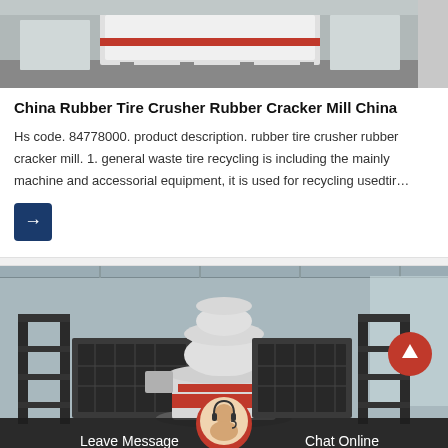[Figure (photo): Industrial rubber tire crusher machine in a factory setting, top portion of product card]
China Rubber Tire Crusher Rubber Cracker Mill China
Hs code. 84778000. product description. rubber tire crusher rubber cracker mill. 1. general waste tire recycling is including the mainly machine and accessorial equipment, it is used for recycling usedtir…
[Figure (photo): Large industrial cone crusher machine inside a warehouse/factory, with black scaffolding on sides, white and red machine body in center, with chat bar overlay at bottom showing Leave Message, avatar, and Chat Online buttons]